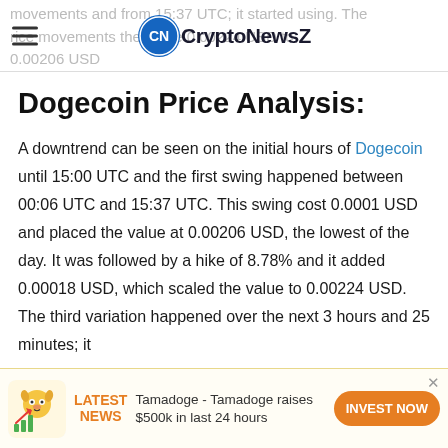CryptoNewsZ
Dogecoin Price Analysis:
A downtrend can be seen on the initial hours of Dogecoin until 15:00 UTC and the first swing happened between 00:06 UTC and 15:37 UTC. This swing cost 0.0001 USD and placed the value at 0.00206 USD, the lowest of the day. It was followed by a hike of 8.78% and it added 0.00018 USD, which scaled the value to 0.00224 USD. The third variation happened over the next 3 hours and 25 minutes; it
LATEST NEWS - Tamadoge - Tamadoge raises $500k in last 24 hours - INVEST NOW